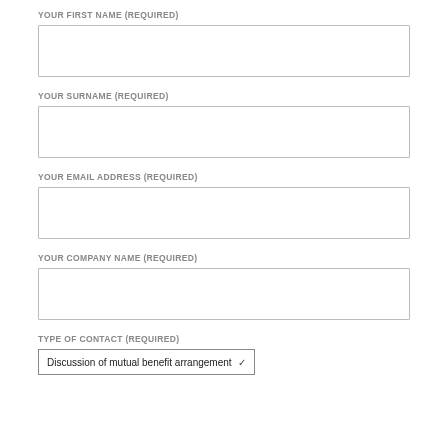YOUR FIRST NAME (REQUIRED)
YOUR SURNAME (REQUIRED)
YOUR EMAIL ADDRESS (REQUIRED)
YOUR COMPANY NAME (REQUIRED)
TYPE OF CONTACT (REQUIRED)
Discussion of mutual benefit arrangement